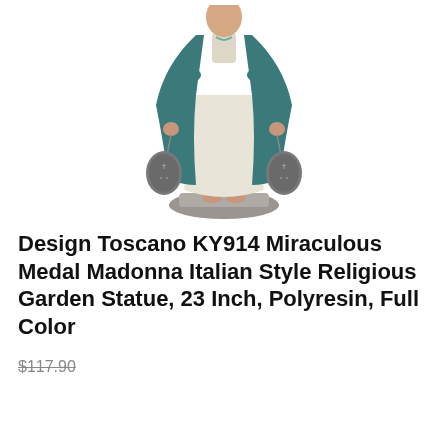[Figure (photo): A Design Toscano Miraculous Medal Madonna religious garden statue in teal/blue robe holding two oval medallions with cross engravings, standing on a round base with a white dress underneath, polyresin full color]
Design Toscano KY914 Miraculous Medal Madonna Italian Style Religious Garden Statue, 23 Inch, Polyresin, Full Color
$117.90